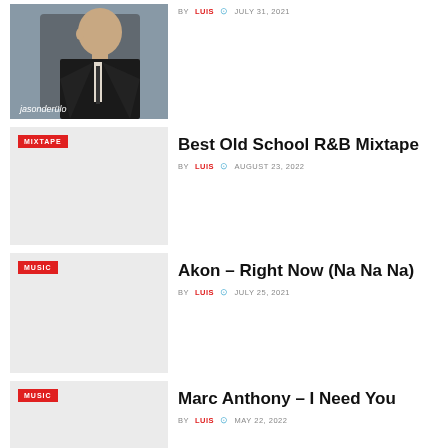[Figure (photo): Jason Derulo album/artist photo - man in dark suit looking down, text 'jasonderülo' at bottom]
BY LUIS  JULY 31, 2021
[Figure (photo): Thumbnail placeholder with MIXTAPE tag]
Best Old School R&B Mixtape
BY LUIS  AUGUST 23, 2022
[Figure (photo): Thumbnail placeholder with MUSIC tag]
Akon – Right Now (Na Na Na)
BY LUIS  JULY 25, 2021
[Figure (photo): Thumbnail placeholder with MUSIC tag]
Marc Anthony – I Need You
BY LUIS  MAY 22, 2022